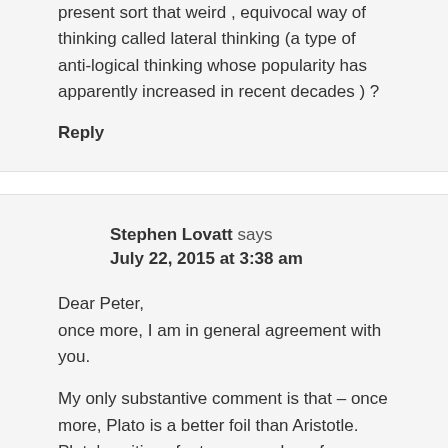present sort that weird , equivocal way of thinking called lateral thinking (a type of anti-logical thinking whose popularity has apparently increased in recent decades ) ?
Reply
Stephen Lovatt says
July 22, 2015 at 3:38 am
Dear Peter,
once more, I am in general agreement with you.
My only substantive comment is that – once more, Plato is a better foil than Aristotle. Plato's writings feature a number of extended parables